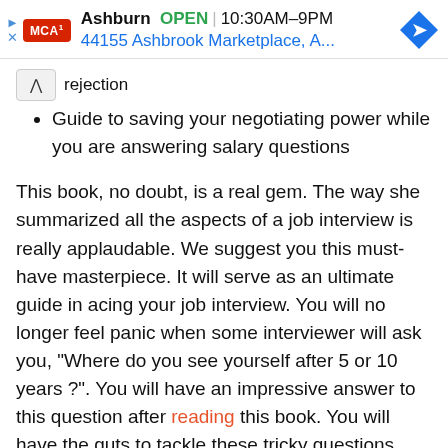[Figure (screenshot): McDonald's ad banner showing MCD logo, Ashburn location, OPEN label, hours 10:30AM–9PM, address 44155 Ashbrook Marketplace, A…, and a blue navigation diamond icon. Small play and X icons on the left edge.]
rejection
Guide to saving your negotiating power while you are answering salary questions
This book, no doubt, is a real gem. The way she summarized all the aspects of a job interview is really applaudable. We suggest you this must-have masterpiece. It will serve as an ultimate guide in acing your job interview. You will no longer feel panic when some interviewer will ask you, "Where do you see yourself after 5 or 10 years ?". You will have an impressive answer to this question after reading this book. You will have the guts to tackle these tricky questions. Give this book a read and save yourself from rejection in your next